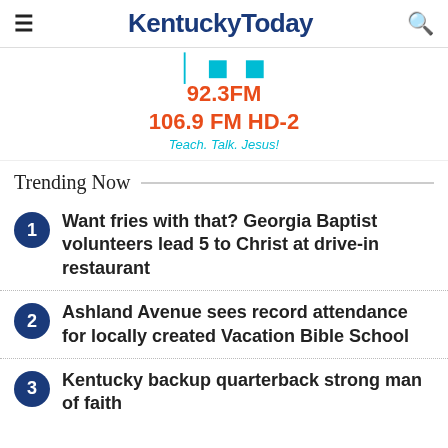KentuckyToday
[Figure (other): Radio station advertisement showing '92.3FM / 106.9 FM HD-2 / Teach. Talk. Jesus!' with cyan and orange text]
Trending Now
1. Want fries with that? Georgia Baptist volunteers lead 5 to Christ at drive-in restaurant
2. Ashland Avenue sees record attendance for locally created Vacation Bible School
3. Kentucky backup quarterback strong man of faith